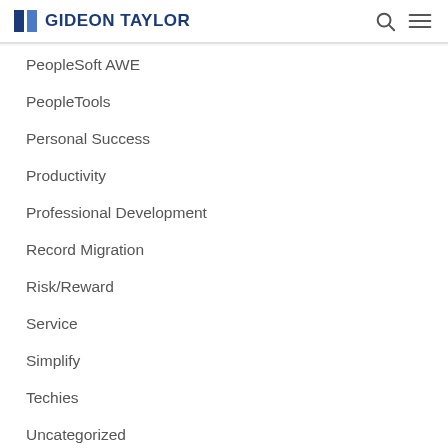GIDEON TAYLOR
PeopleSoft AWE
PeopleTools
Personal Success
Productivity
Professional Development
Record Migration
Risk/Reward
Service
Simplify
Techies
Uncategorized
User Experience